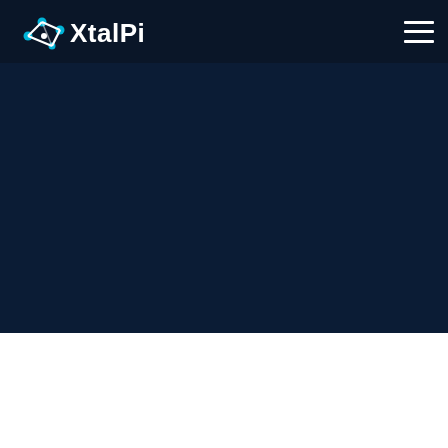XtalPi
[Figure (other): Dark navy background section below the navigation bar, serving as a hero/banner area for the XtalPi website.]